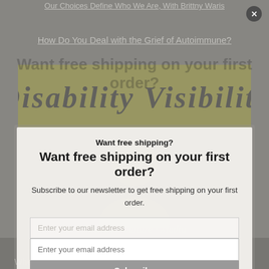Our Choices Define Who We Are, With Brittny Waris
How Do You Deal with the Grief of Autoimmune?
[Figure (illustration): Dark olive/gold banner with cursive italic text partially visible: 'Disability Visibility' or similar title]
Want free shipping?
Want free shipping on your first order?
Subscribe to our newsletter to get free shipping on your first order.
Enter your email address
Subscribe
Disability Visibility
Whether you live with a disability yourself or not, Disability